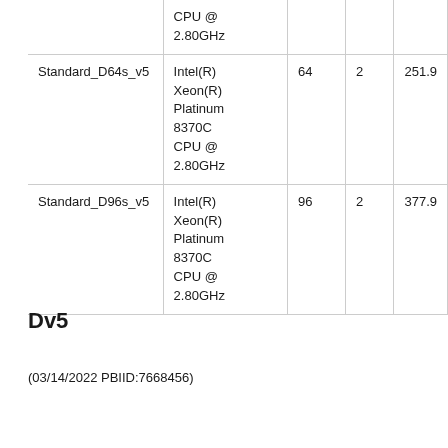|  | CPU | vCPUs | NUMA Nodes | RAM (GiB) |
| --- | --- | --- | --- | --- |
|  | CPU @
2.80GHz |  |  |  |
| Standard_D64s_v5 | Intel(R)
Xeon(R)
Platinum
8370C
CPU @
2.80GHz | 64 | 2 | 251.9 |
| Standard_D96s_v5 | Intel(R)
Xeon(R)
Platinum
8370C
CPU @
2.80GHz | 96 | 2 | 377.9 |
Dv5
(03/14/2022 PBIID:7668456)